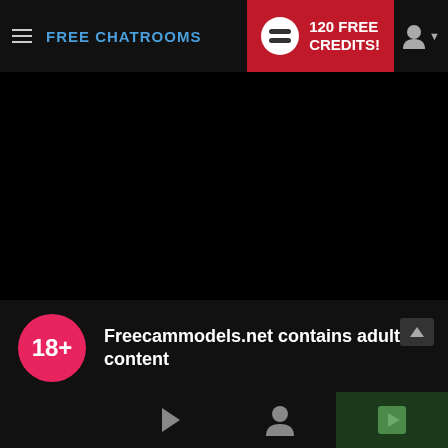FREE CHATROOMS | 120 FREE CREDITS!
[Figure (screenshot): Black video player area]
Freecammodels.net contains adult content
By using the site, you acknowledge you have read our Privacy Policy, and agree to our Terms and Conditions.
We use cookies to optimize your experience, analyze traffic, and deliver more personalized service. To learn more, please see our Privacy Policy.
I AGREE